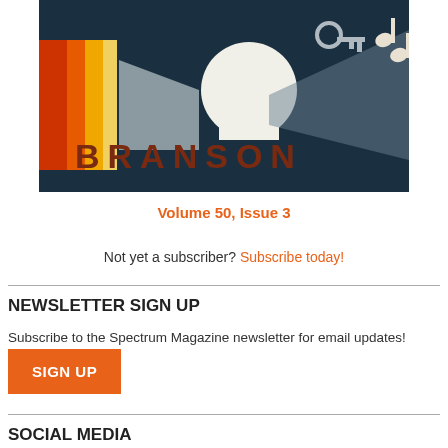[Figure (illustration): Branson magazine cover illustration with dark teal background, retro-style artwork featuring a spotlight, musical instruments, and the word BRANSON in large brown/red letters]
Volume 50, Issue 3
Not yet a subscriber? Subscribe today!
NEWSLETTER SIGN UP
Subscribe to the Spectrum Magazine newsletter for email updates!
SIGN UP
SOCIAL MEDIA